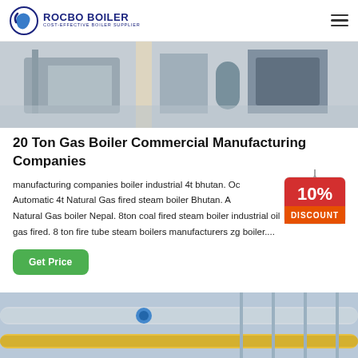[Figure (logo): Rocbo Boiler logo with circular icon and text 'ROCBO BOILER / COST-EFFECTIVE BOILER SUPPLIER']
[Figure (photo): Industrial boiler manufacturing facility interior, top portion showing machinery and equipment]
20 Ton Gas Boiler Commercial Manufacturing Companies
manufacturing companies boiler industrial 4t bhutan. Oc Automatic 4t Natural Gas fired steam boiler Bhutan. A Natural Gas boiler Nepal. 8ton coal fired steam boiler industrial oil gas fired. 8 ton fire tube steam boilers manufacturers zg boiler....
[Figure (infographic): 10% DISCOUNT badge/tag graphic in red and yellow]
[Figure (photo): Get Price button in green]
[Figure (photo): Industrial pipes and boiler equipment, bottom portion of page]